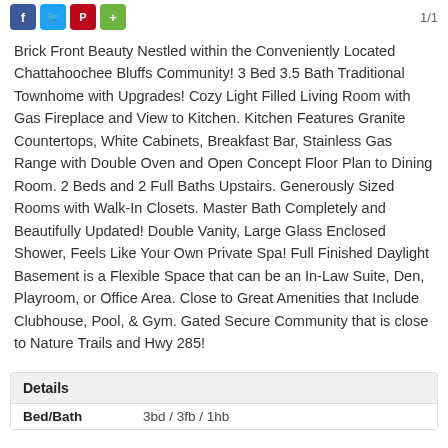[Figure (logo): Social media icons: Facebook (blue), Twitter (light blue), Pinterest (red), Plus/Share (green)]
1/1
Brick Front Beauty Nestled within the Conveniently Located Chattahoochee Bluffs Community! 3 Bed 3.5 Bath Traditional Townhome with Upgrades! Cozy Light Filled Living Room with Gas Fireplace and View to Kitchen. Kitchen Features Granite Countertops, White Cabinets, Breakfast Bar, Stainless Gas Range with Double Oven and Open Concept Floor Plan to Dining Room. 2 Beds and 2 Full Baths Upstairs. Generously Sized Rooms with Walk-In Closets. Master Bath Completely and Beautifully Updated! Double Vanity, Large Glass Enclosed Shower, Feels Like Your Own Private Spa! Full Finished Daylight Basement is a Flexible Space that can be an In-Law Suite, Den, Playroom, or Office Area. Close to Great Amenities that Include Clubhouse, Pool, & Gym. Gated Secure Community that is close to Nature Trails and Hwy 285!
Details
| Field | Value |
| --- | --- |
| Bed/Bath | 3bd / 3fb / 1hb |